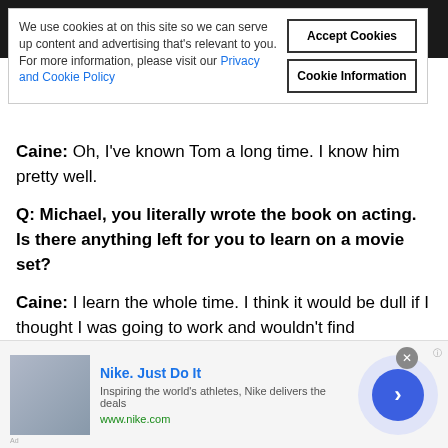[Figure (screenshot): Cookie consent banner overlay on a dark website header, with text asking to accept cookies and two buttons: Accept Cookies and Cookie Information]
Q: Did you say anything to them?
Caine: Oh, I've known Tom a long time. I know him pretty well.
Q: Michael, you literally wrote the book on acting. Is there anything left for you to learn on a movie set?
Caine: I learn the whole time. I think it would be dull if I thought I was going to work and wouldn't find something new. We always learn. What did I learn on this movie? Stay out of the way of the bats... keep your head down
[Figure (screenshot): Nike advertisement banner at the bottom: Nike. Just Do It. Inspiring the world's athletes, Nike delivers the deals. www.nike.com]